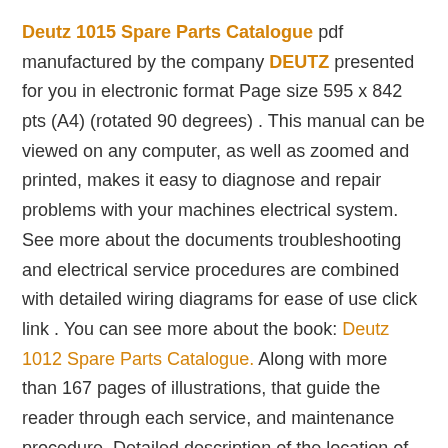Deutz 1015 Spare Parts Catalogue pdf manufactured by the company DEUTZ presented for you in electronic format Page size 595 x 842 pts (A4) (rotated 90 degrees) . This manual can be viewed on any computer, as well as zoomed and printed, makes it easy to diagnose and repair problems with your machines electrical system. See more about the documents troubleshooting and electrical service procedures are combined with detailed wiring diagrams for ease of use click link . You can see more about the book: Deutz 1012 Spare Parts Catalogue. Along with more than 167 pages of illustrations, that guide the reader through each service, and maintenance procedure. Detailed description of the location of parts including code lists. Easily check codes, assemble repairs, buy suitable spare parts for dealers and garages. Complete download comes in PDF format which can work under all PC based Windows